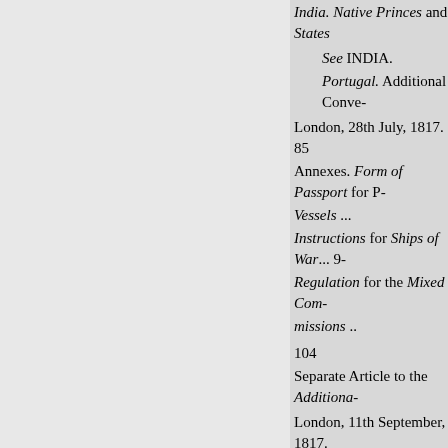India. Native Princes and States
See INDIA.
Portugal. Additional Conve-
London, 28th July, 1817. 85
Annexes. Form of Passport for P-
Vessels ...
Instructions for Ships of War... 9-
Regulation for the Mixed Com- missions ..
104
Separate Article to the Additiona-
London, 11th September, 1817.
Declaration. Molembo and Cabin-
London, 3rd April, 1819. 116
Spain. Treaty. Slave Trade ..Mad-
Annexes. Form of Passport
Vessels.....
43
Instructions for Ships of War. 46